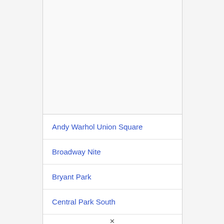Andy Warhol Union Square
Broadway Nite
Bryant Park
Central Park South